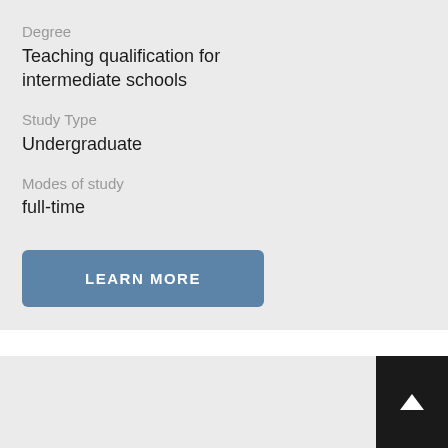Degree
Teaching qualification for intermediate schools
Study Type
Undergraduate
Modes of study
full-time
LEARN MORE